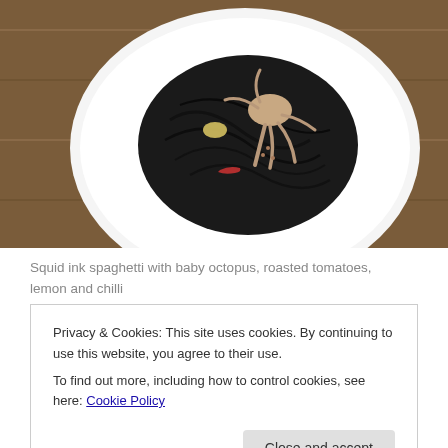[Figure (photo): A white plate containing squid ink spaghetti with baby octopus, photographed from above on a wooden surface. The pasta is very dark/black and the octopus tentacles are visible on top.]
Squid ink spaghetti with baby octopus, roasted tomatoes, lemon and chilli
This is one of the best meals I've eaten in quite some time. Dish it up sell some spectacular pasta at the Capital Region Farmers Market in Canberra. As soon as I
Privacy & Cookies: This site uses cookies. By continuing to use this website, you agree to their use.
To find out more, including how to control cookies, see here: Cookie Policy
Close and accept
I wanted to highlight the contrasting colours of the octopus